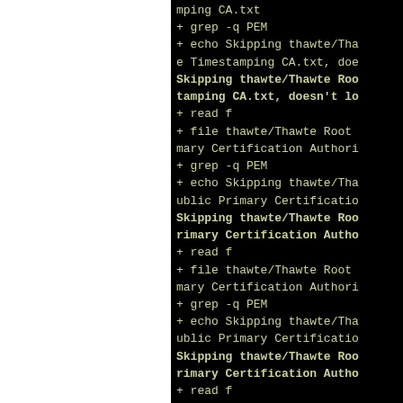[Figure (screenshot): Terminal/shell output showing a script processing certificate files. Left portion is white (cut off page), right portion shows black terminal with monospace green-ish text listing shell commands and output related to thawte CA certificate files. Commands include grep, echo, read, file operations on thawte/Thawte Root and Primary Certification Authority .txt files, with 'Skipping' output messages.]